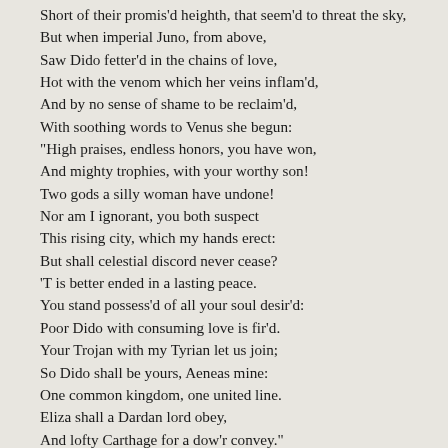Short of their promis'd heighth, that seem'd to threat the sky,

But when imperial Juno, from above,
Saw Dido fetter'd in the chains of love,
Hot with the venom which her veins inflam'd,
And by no sense of shame to be reclaim'd,
With soothing words to Venus she begun:
"High praises, endless honors, you have won,
And mighty trophies, with your worthy son!
Two gods a silly woman have undone!
Nor am I ignorant, you both suspect
This rising city, which my hands erect:
But shall celestial discord never cease?
'T is better ended in a lasting peace.
You stand possess'd of all your soul desir'd:
Poor Dido with consuming love is fir'd.
Your Trojan with my Tyrian let us join;
So Dido shall be yours, Aeneas mine:
One common kingdom, one united line.
Eliza shall a Dardan lord obey,
And lofty Carthage for a dow'r convey."
Then Venus, who her hidden fraud descried,
Which would the scepter of the world misguide
To Libyan shores, thus artfully replied:
"Who, but a fool, would wars with Juno choose,
And such alliance and such gifts refuse